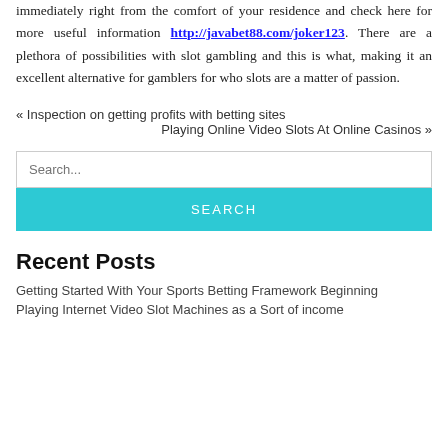immediately right from the comfort of your residence and check here for more useful information http://javabet88.com/joker123. There are a plethora of possibilities with slot gambling and this is what, making it an excellent alternative for gamblers for who slots are a matter of passion.
« Inspection on getting profits with betting sites
Playing Online Video Slots At Online Casinos »
Search...
Recent Posts
Getting Started With Your Sports Betting Framework Beginning
Playing Internet Video Slot Machines as a Sort of income